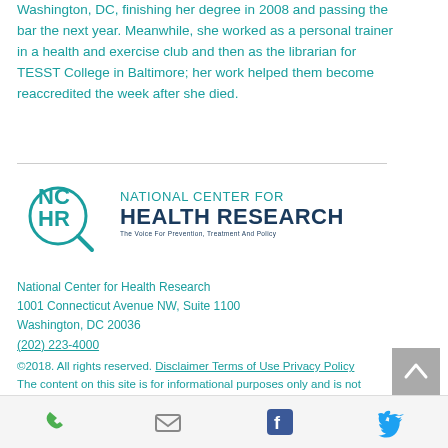Washington, DC, finishing her degree in 2008 and passing the bar the next year. Meanwhile, she worked as a personal trainer in a health and exercise club and then as the librarian for TESST College in Baltimore; her work helped them become reaccredited the week after she died.
[Figure (logo): National Center for Health Research logo with NCHR magnifying glass icon and teal/navy text]
National Center for Health Research
1001 Connecticut Avenue NW, Suite 1100
Washington, DC 20036
(202) 223-4000
©2018. All rights reserved. Disclaimer Terms of Use Privacy Policy
The content on this site is for informational purposes only and is not intended to provide
[Figure (infographic): Footer bar with phone, email, Facebook, and Twitter icons]